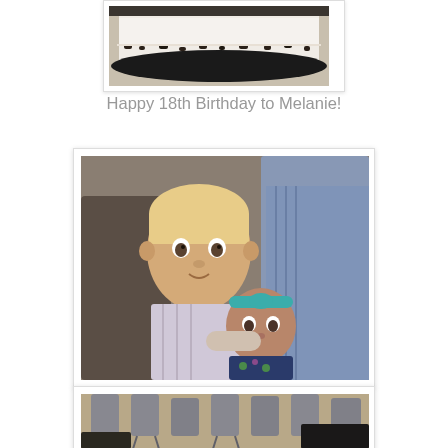[Figure (photo): Cropped top portion of a birthday cake with white frosting and dark chocolate crumbles around the base, on a dark plate]
Happy 18th Birthday to Melanie!
[Figure (photo): A young blonde toddler boy holding a baby dressed in a teal headband and floral outfit, surrounded by a crowd of people]
[Figure (photo): Rows of gray folding chairs viewed from above at an angle, in what appears to be an event venue]